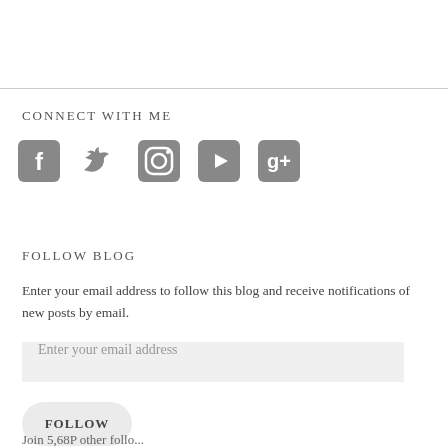CONNECT WITH ME
[Figure (illustration): Row of five social media icons: Facebook, Twitter, Instagram, YouTube, Google+, rendered in gray rounded-square style]
FOLLOW BLOG
Enter your email address to follow this blog and receive notifications of new posts by email.
Enter your email address
FOLLOW
Join 5,68P other follo...